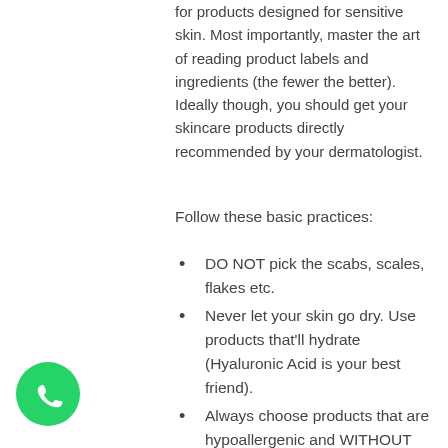for products designed for sensitive skin. Most importantly, master the art of reading product labels and ingredients (the fewer the better). Ideally though, you should get your skincare products directly recommended by your dermatologist.
Follow these basic practices:
DO NOT pick the scabs, scales, flakes etc.
Never let your skin go dry. Use products that'll hydrate (Hyaluronic Acid is your best friend).
Always choose products that are hypoallergenic and WITHOUT fragrance and ingredients like lanolin.
NEVER forget sunscreen.
Stay away from retinol, vitamin C and chemical exfoliants, scrubs and cleansers